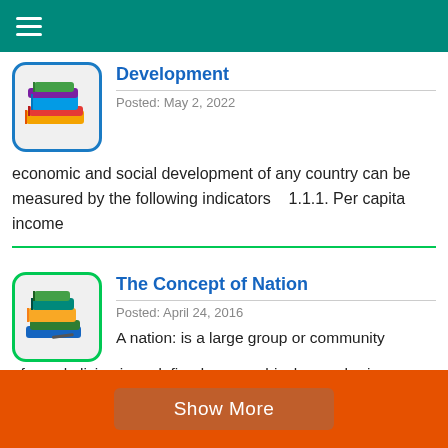Development
Posted: May 2, 2022
economic and social development of any country can be measured by the following indicators   1.1.1. Per capita income
The Concept of Nation
Posted: April 24, 2016
A nation: is a large group or community of people living in a  defined geographical area sharing
Show More